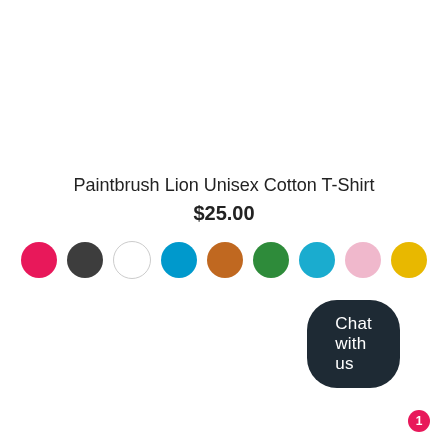Paintbrush Lion Unisex Cotton T-Shirt
$25.00
[Figure (other): Color swatches: pink/red, dark gray, white, blue, orange, green, light blue, light pink, yellow]
[Figure (other): Chat with us button (dark pill-shaped button) with red badge showing '1']